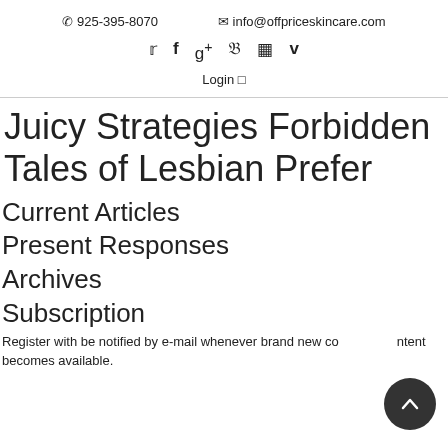925-395-8070   info@offpriceskincare.com
Twitter Facebook Google+ Pinterest Instagram Vimeo
Login
Juicy Strategies Forbidden Tales of Lesbian Prefer
Current Articles
Present Responses
Archives
Subscription
Register with be notified by e-mail whenever brand new content becomes available.